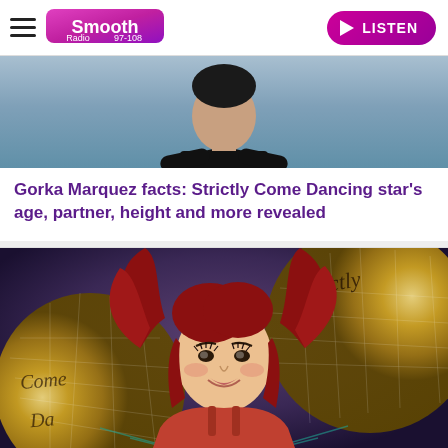Smooth Radio 97-108 | LISTEN
[Figure (photo): Gorka Marquez photo - man in black shirt with arms crossed, partial view]
Gorka Marquez facts: Strictly Come Dancing star's age, partner, height and more revealed
[Figure (photo): Dianne Buswell with red hair smiling at Strictly Come Dancing event with gold glitter ball logos in background]